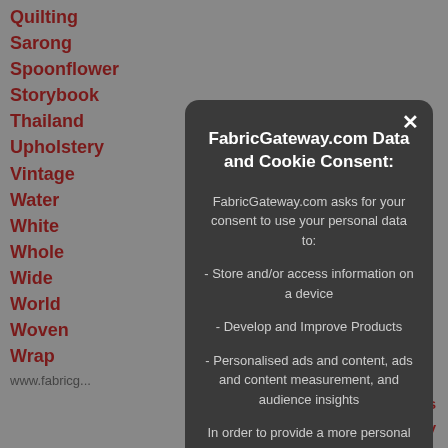Quilting
Sarong
Spoonflower
Storybook
Thailand
Upholstery
Vintage
Water
White
Whole
Wide
World
Woven
Wrap
[Figure (screenshot): Cookie consent modal dialog for FabricGateway.com with title 'FabricGateway.com Data and Cookie Consent:' and body text explaining data usage, with a close (X) button in the top right corner.]
www.fabricg... | ontact Us | Privacy Policy